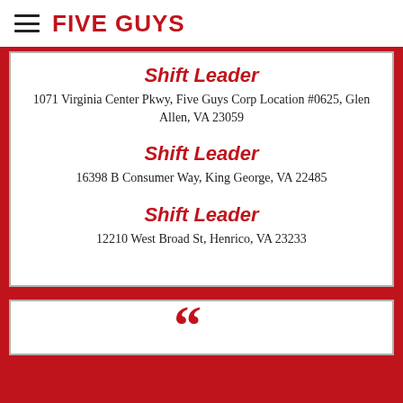FIVE GUYS
Shift Leader
1071 Virginia Center Pkwy, Five Guys Corp Location #0625, Glen Allen, VA 23059
Shift Leader
16398 B Consumer Way, King George, VA 22485
Shift Leader
12210 West Broad St, Henrico, VA 23233
[Figure (other): Large red quotation mark opening a testimonial or quote card]